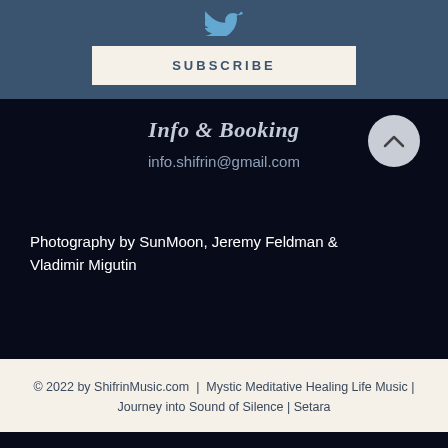[Figure (logo): Blue bird icon (social media / Twitter-like icon) on steel blue background]
SUBSCRIBE
Info & Booking
info.shifrin@gmail.com
Photography by SunMoon, Jeremy Feldman & Vladimir Migutin
© 2022 by ShifrinMusic.com | Mystic Meditative Healing Life Music | Journey into Sound of Silence | Setara